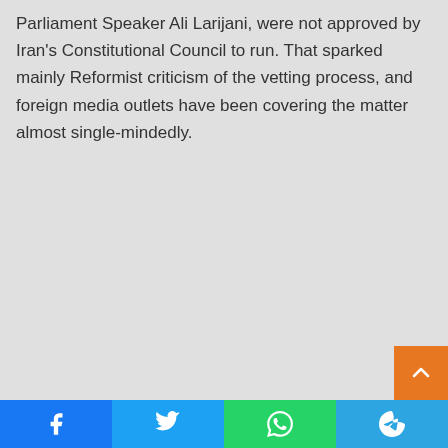Parliament Speaker Ali Larijani, were not approved by Iran's Constitutional Council to run. That sparked mainly Reformist criticism of the vetting process, and foreign media outlets have been covering the matter almost single-mindedly.
[Figure (other): Social share bar with Facebook, Twitter, WhatsApp, and Telegram buttons at the bottom of the page, plus an orange scroll-to-top button]